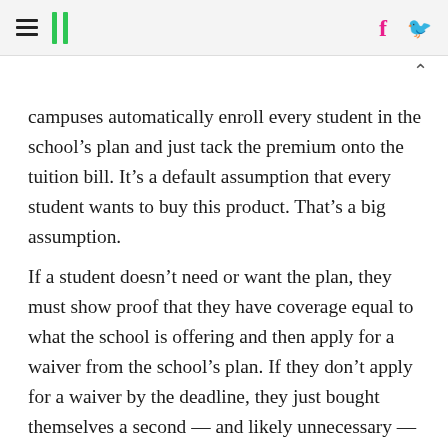HuffPost navigation and social icons
campuses automatically enroll every student in the school’s plan and just tack the premium onto the tuition bill. It’s a default assumption that every student wants to buy this product. That’s a big assumption.
If a student doesn’t need or want the plan, they must show proof that they have coverage equal to what the school is offering and then apply for a waiver from the school’s plan. If they don’t apply for a waiver by the deadline, they just bought themselves a second — and likely unnecessary — policy.